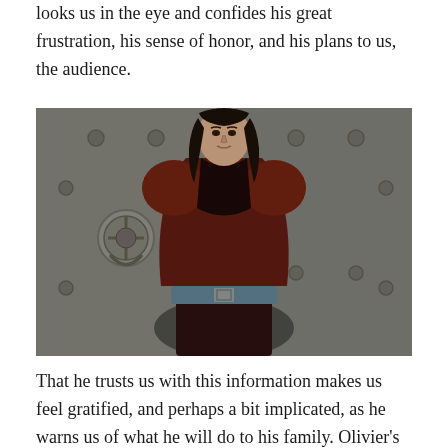looks us in the eye and confides his great frustration, his sense of honor, and his plans to us, the audience.
[Figure (photo): A man with long dark hair wearing a dark red/maroon velvet costume with a blue belt, standing in front of large ornate wooden doors with metal hardware. This appears to be a still from a historical film, likely depicting Richard III or a similar period character.]
That he trusts us with this information makes us feel gratified, and perhaps a bit implicated, as he warns us of what he will do to his family. Olivier's portrayal is nuanced, letting us understand how much he might feel conflicted by